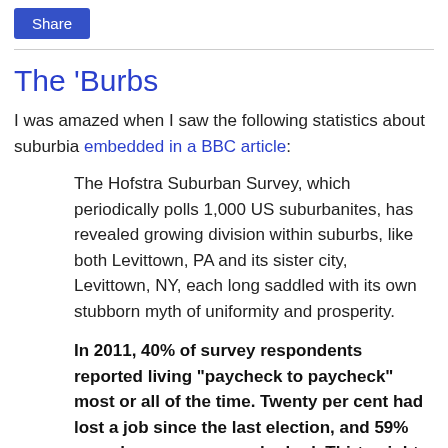Share
The 'Burbs
I was amazed when I saw the following statistics about suburbia embedded in a BBC article:
The Hofstra Suburban Survey, which periodically polls 1,000 US suburbanites, has revealed growing division within suburbs, like both Levittown, PA and its sister city, Levittown, NY, each long saddled with its own stubborn myth of uniformity and prosperity.
In 2011, 40% of survey respondents reported living "paycheck to paycheck" most or all of the time. Twenty per cent had lost a job since the last election, and 59% more knew someone who had. Thirty-eight percent knew someone who had lost their home to foreclosure.